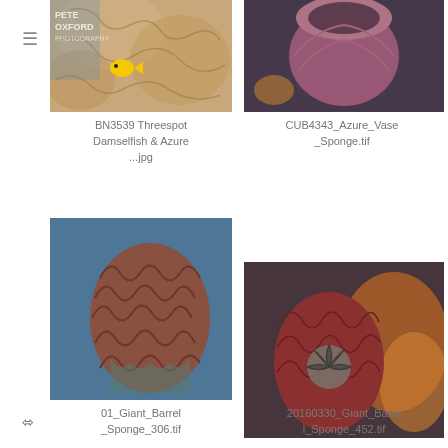≡
[Figure (photo): Threespot Damselfish among Azure coral with Pete Oxford Photography watermark]
BN3539 Threespot Damselfish & Azure ...jpg
[Figure (photo): Azure Vase Sponge underwater photo]
CUB4343_Azure_Vase_Sponge.tif
[Figure (photo): Giant Barrel Sponge underwater photo]
01_Giant_Barrel_Sponge_306.tif
[Figure (photo): Giant Barrel Sponge with coral reef underwater photo]
20160330_Giant_Barrel_Sponge_452.tif